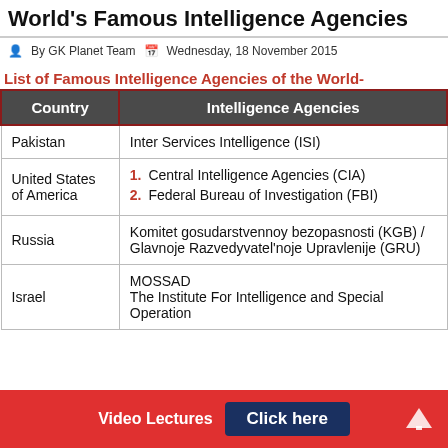World's Famous Intelligence Agencies
By GK Planet Team   Wednesday, 18 November 2015
List of Famous Intelligence Agencies of the World-
| Country | Intelligence Agencies |
| --- | --- |
| Pakistan | Inter Services Intelligence (ISI) |
| United States of America | 1. Central Intelligence Agencies (CIA)
2. Federal Bureau of Investigation (FBI) |
| Russia | Komitet gosudarstvennoy bezopasnosti (KGB) / Glavnoje Razvedyvatel'noje Upravlenije (GRU) |
| Israel | MOSSAD
The Institute For Intelligence and Special Operation |
Video Lectures   Click here